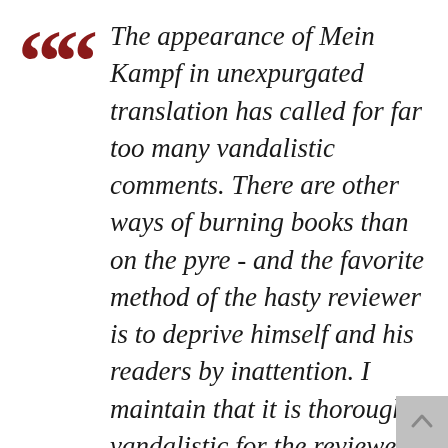The appearance of Mein Kampf in unexpurgated translation has called for far too many vandalistic comments. There are other ways of burning books than on the pyre - and the favorite method of the hasty reviewer is to deprive himself and his readers by inattention. I maintain that it is thoroughly vandalistic for the reviewer to content himself with the mere inflicting of a few symbolic wounds on this book. It is not the ones f